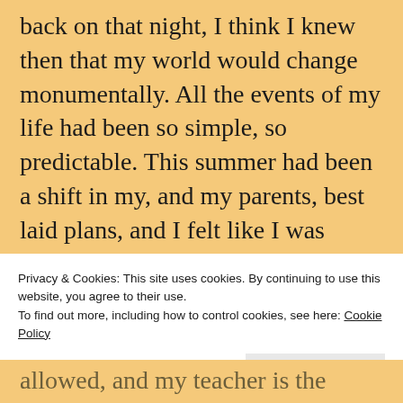back on that night, I think I knew then that my world would change monumentally. All the events of my life had been so simple, so predictable. This summer had been a shift in my, and my parents, best laid plans, and I felt like I was going off-script.

I could see heads turning and heard, “Welcome home,” and,
Privacy & Cookies: This site uses cookies. By continuing to use this website, you agree to their use.
To find out more, including how to control cookies, see here: Cookie Policy
Close and accept
allowed, and my teacher is the